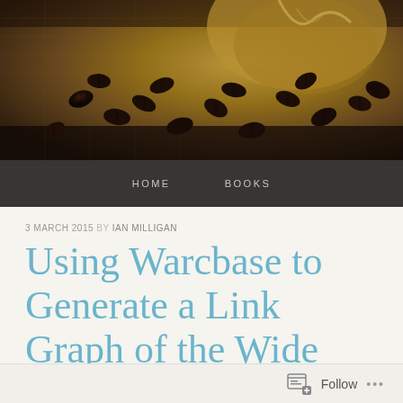[Figure (photo): Coffee beans spilling from a burlap sack on a burlap surface, header image for blog]
HOME   BOOKS
3 MARCH 2015 BY IAN MILLIGAN
Using Warcbase to Generate a Link Graph of the Wide Web Scrape